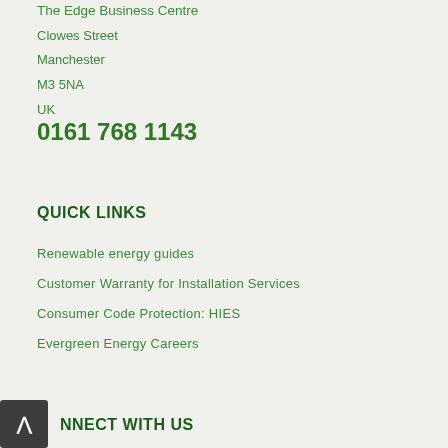The Edge Business Centre
Clowes Street
Manchester
M3 5NA
UK
0161 768 1143
QUICK LINKS
Renewable energy guides
Customer Warranty for Installation Services
Consumer Code Protection: HIES
Evergreen Energy Careers
CONNECT WITH US